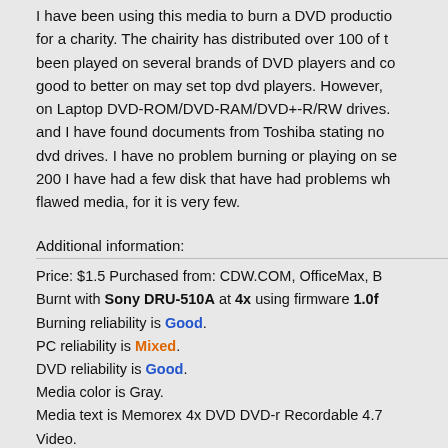I have been using this media to burn a DVD production for a charity. The chairity has distributed over 100 of t been played on several brands of DVD players and co good to better on may set top dvd players. However, on Laptop DVD-ROM/DVD-RAM/DVD+-R/RW drives. and I have found documents from Toshiba stating no dvd drives. I have no problem burning or playing on se 200 I have had a few disk that have had problems wh flawed media, for it is very few.
Additional information:
Price: $1.5 Purchased from: CDW.COM, OfficeMax, B Burnt with Sony DRU-510A at 4x using firmware 1.0f Burning reliability is Good. PC reliability is Mixed. DVD reliability is Good. Media color is Gray. Media text is Memorex 4x DVD DVD-r Recordable 4.7 Video. Media package type is Cake Box. Number of discs 25